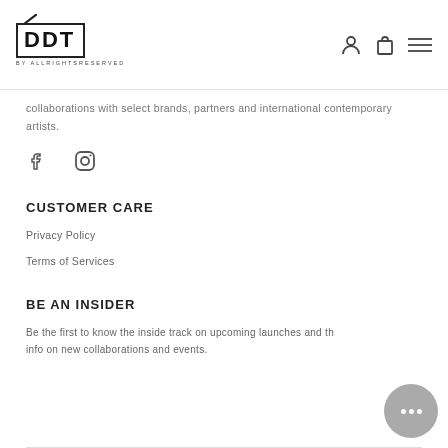DDT BY ALLRIGHTSRESERVED — navigation header with logo and icons
collaborations with select brands, partners and international contemporary artists.
[Figure (illustration): Facebook and Instagram social media icons]
CUSTOMER CARE
Privacy Policy
Terms of Services
BE AN INSIDER
Be the first to know the inside track on upcoming launches and the info on new collaborations and events.
[Figure (illustration): Chat/messenger bubble button with three dots]